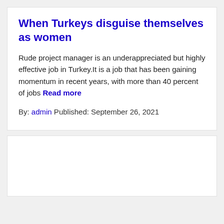When Turkeys disguise themselves as women
Rude project manager is an underappreciated but highly effective job in Turkey.It is a job that has been gaining momentum in recent years, with more than 40 percent of jobs Read more
By: admin Published: September 26, 2021